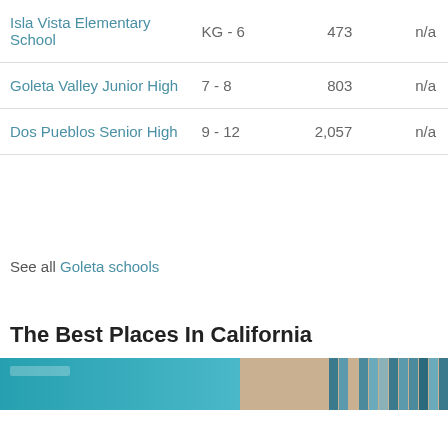| Isla Vista Elementary School | KG - 6 | 473 | n/a |
| Goleta Valley Junior High | 7 - 8 | 803 | n/a |
| Dos Pueblos Senior High | 9 - 12 | 2,057 | n/a |
See all Goleta schools
The Best Places In California
[Figure (photo): Two thumbnail images side by side: a teal/blue image on the left and a beige/grid-pattern image on the right, partially visible at bottom of page]